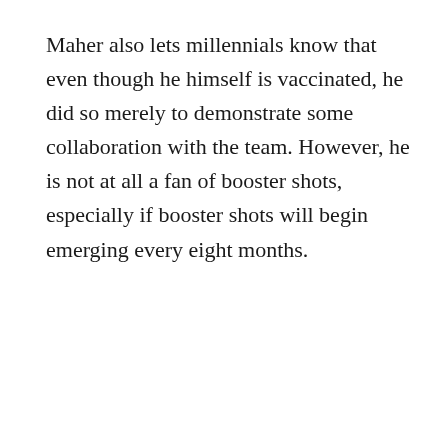Maher also lets millennials know that even though he himself is vaccinated, he did so merely to demonstrate some collaboration with the team. However, he is not at all a fan of booster shots, especially if booster shots will begin emerging every eight months.